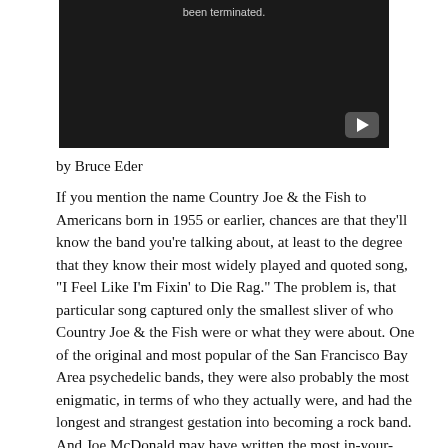[Figure (screenshot): A video player with a dark/black background showing text 'been terminated.' and a YouTube play button in the bottom-right corner.]
by Bruce Eder
If you mention the name Country Joe & the Fish to Americans born in 1955 or earlier, chances are that they'll know the band you're talking about, at least to the degree that they know their most widely played and quoted song, "I Feel Like I'm Fixin' to Die Rag." The problem is, that particular song captured only the smallest sliver of who Country Joe & the Fish were or what they were about. One of the original and most popular of the San Francisco Bay Area psychedelic bands, they were also probably the most enigmatic, in terms of who they actually were, and had the longest and strangest gestation into becoming a rock band. And Joe McDonald may have written the most in-your-face antiwar, anti-military song to come out of the 1960s, but he was also one of the very few musicians on the San Francisco scene who'd served in uniform.